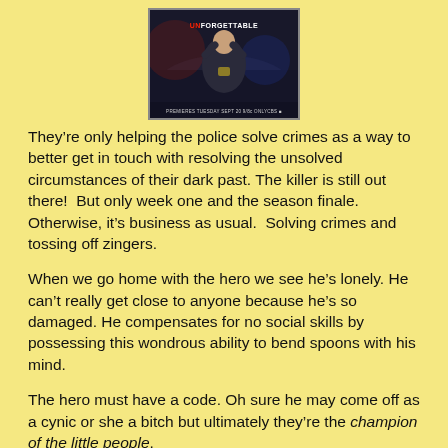[Figure (illustration): TV show promotional image for 'Unforgettable' showing a police officer with show title text and premiere date.]
They're only helping the police solve crimes as a way to better get in touch with resolving the unsolved circumstances of their dark past. The killer is still out there!  But only week one and the season finale.  Otherwise, it's business as usual.  Solving crimes and tossing off zingers.
When we go home with the hero we see he's lonely. He can't really get close to anyone because he's so damaged. He compensates for no social skills by possessing this wondrous ability to bend spoons with his mind.
The hero must have a code. Oh sure he may come off as a cynic or she a bitch but ultimately they're the champion of the little people.
The hero must have a partner of the opposite sex who finds him/her infuriating but is totally dependent on him/her. The partner is always somewhat of an idiot. He enters the crime